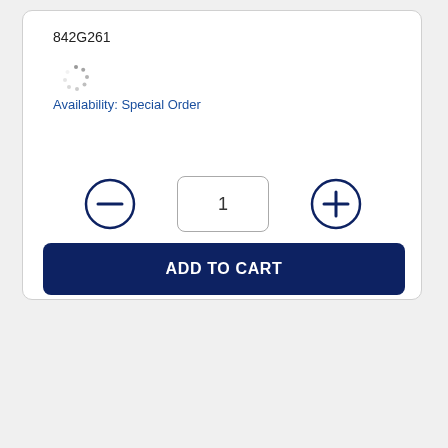842G261
[Figure (other): Loading spinner icon (circular dashed spinner)]
Availability: Special Order
[Figure (other): Quantity selector with minus button, quantity input box showing 1, and plus button]
ADD TO CART